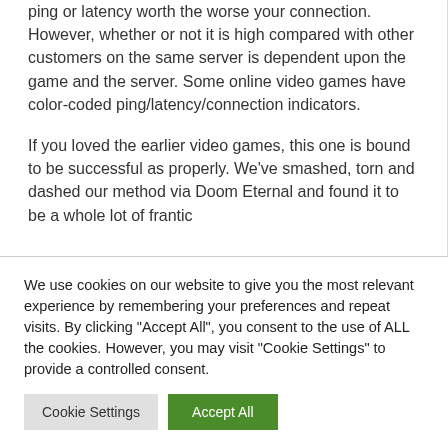ping or latency worth the worse your connection. However, whether or not it is high compared with other customers on the same server is dependent upon the game and the server. Some online video games have color-coded ping/latency/connection indicators.
If you loved the earlier video games, this one is bound to be successful as properly. We've smashed, torn and dashed our method via Doom Eternal and found it to be a whole lot of frantic
We use cookies on our website to give you the most relevant experience by remembering your preferences and repeat visits. By clicking "Accept All", you consent to the use of ALL the cookies. However, you may visit "Cookie Settings" to provide a controlled consent.